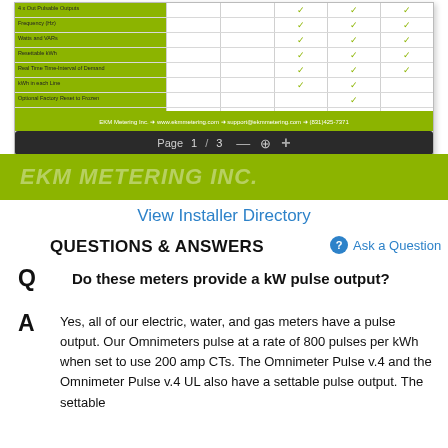[Figure (screenshot): EKM Metering product comparison table showing rows with green labels and checkmarks, a green footer bar with contact info, and a page navigation toolbar showing Page 1 / 3 with zoom controls. The EKM Metering Inc. logo is visible at the bottom of the document preview.]
View Installer Directory
QUESTIONS & ANSWERS
Ask a Question
Q
Do these meters provide a kW pulse output?
A
Yes, all of our electric, water, and gas meters have a pulse output. Our Omnimeters pulse at a rate of 800 pulses per kWh when set to use 200 amp CTs.  The Omnimeter Pulse v.4 and the Omnimeter Pulse v.4 UL also have a settable pulse output. The settable